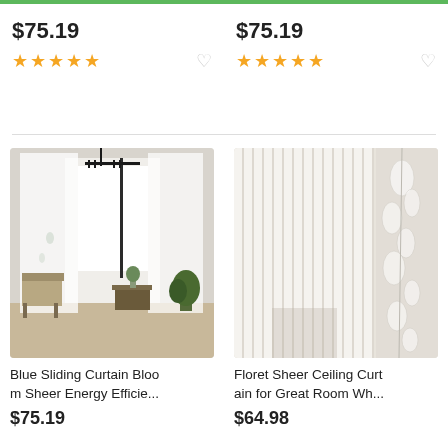$75.19
$75.19
[Figure (screenshot): Blue Sliding Curtain Bloom Sheer Energy Efficie... product image showing white sheer curtains in a living room with a chair]
Blue Sliding Curtain Bloo m Sheer Energy Efficie...
$75.19
[Figure (screenshot): Floret Sheer Ceiling Curtain for Great Room Wh... product image showing white floral sheer curtains]
Floret Sheer Ceiling Curt ain for Great Room Wh...
$64.98